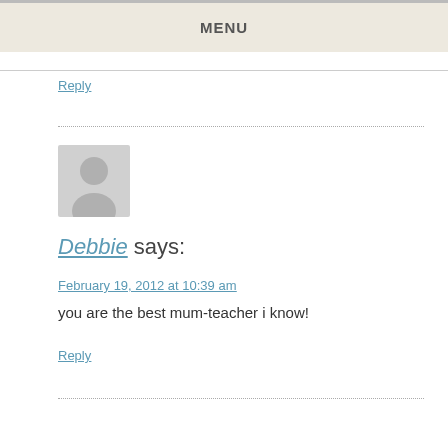MENU
Reply
Debbie says:
February 19, 2012 at 10:39 am
you are the best mum-teacher i know!
Reply